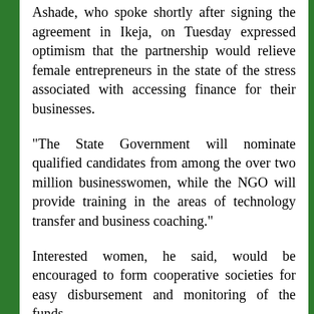Ashade, who spoke shortly after signing the agreement in Ikeja, on Tuesday expressed optimism that the partnership would relieve female entrepreneurs in the state of the stress associated with accessing finance for their businesses.
"The State Government will nominate qualified candidates from among the over two million businesswomen, while the NGO will provide training in the areas of technology transfer and business coaching."
Interested women, he said, would be encouraged to form cooperative societies for easy disbursement and monitoring of the funds.
He noted that accessing the fund would attract foreign investment into the country and also boost the economy through increased Gross Domestic Product especially during the current recession.